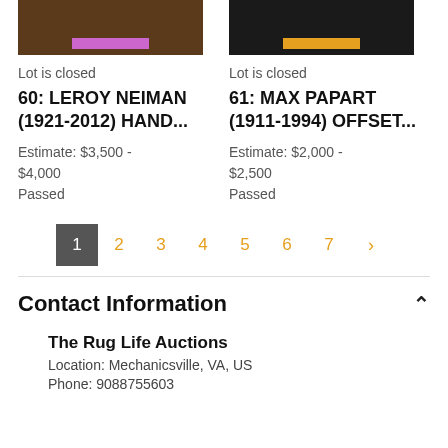[Figure (photo): Partial view of auction lot 60 image with purple label, brown background]
[Figure (photo): Partial view of auction lot 61 image with orange/yellow label, dark background]
Lot is closed
60: LEROY NEIMAN (1921-2012) HAND...
Estimate: $3,500 - $4,000
Passed
Lot is closed
61: MAX PAPART (1911-1994) OFFSET...
Estimate: $2,000 - $2,500
Passed
1 2 3 4 5 6 7 ›
Contact Information
The Rug Life Auctions
Location: Mechanicsville, VA, US
Phone: 9088755603